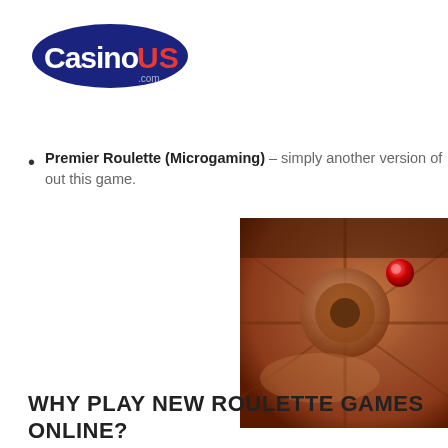[Figure (logo): CasinoUS.com logo with dark blue oval background, white text 'Casino', red bold text 'US', and small '.com' text below]
Premier Roulette (Microgaming) – simply another version of European Roulette, we recommend you check out this game.
[Figure (photo): Close-up photo of a roulette wheel with warm brown/amber tones showing the spinning wheel and a red ball]
WHY PLAY NEW ROULETTE GAMES ONLINE?